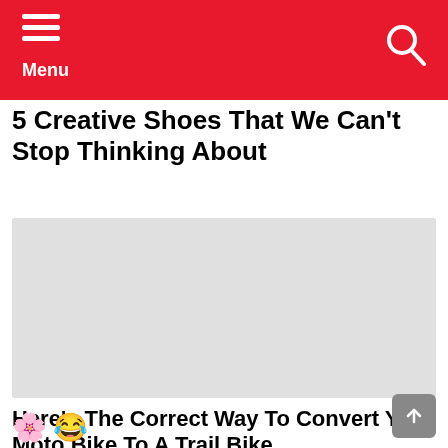Menu
5 Creative Shoes That We Can't Stop Thinking About
[Figure (photo): A light gray placeholder image rectangle for an article about creative shoes]
Here's The Correct Way To Convert Your Moto Bike To A Trail Bike